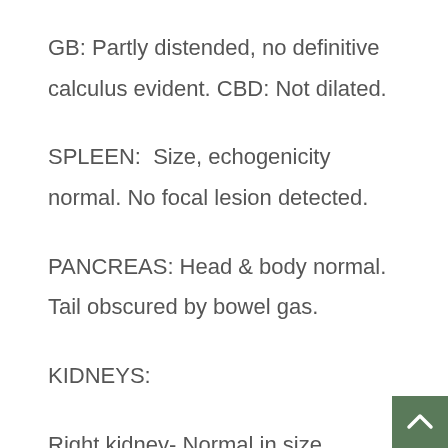GB: Partly distended, no definitive calculus evident. CBD: Not dilated.
SPLEEN:  Size, echogenicity normal. No focal lesion detected.
PANCREAS: Head & body normal. Tail obscured by bowel gas.
KIDNEYS:
Right kidney- Normal in size, contour, position & echogenicity.  No calculus see